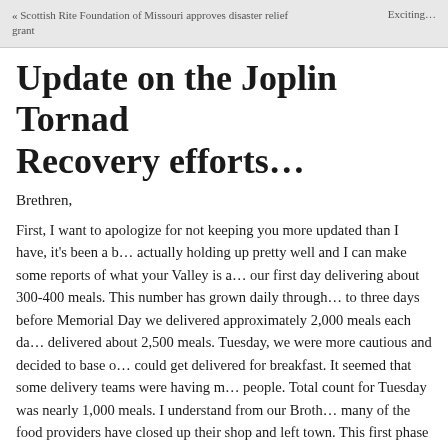« Scottish Rite Foundation of Missouri approves disaster relief grant    Exciting…
Update on the Joplin Tornado Recovery efforts…
Brethren,
First, I want to apologize for not keeping you more updated than I have, it's been a b… actually holding up pretty well and I can make some reports of what your Valley is a… our first day delivering about 300-400 meals. This number has grown daily through… to three days before Memorial Day we delivered approximately 2,000 meals each da… delivered about 2,500 meals. Tuesday, we were more cautious and decided to base o… could get delivered for breakfast. It seemed that some delivery teams were having m… people. Total count for Tuesday was nearly 1,000 meals. I understand from our Broth… many of the food providers have closed up their shop and left town. This first phase … anything left from peoples' homes and most folks are pretty much done gathering th… tornado recovery is moving into a new phase and clean-up will become much more i… weekends. We'll close food preparation today through Friday, re-open for the weeke… the meantime, if you'd like to assist in clean up efforts, please check the website ww… your Team with the City or call 211 to register with the United Way .